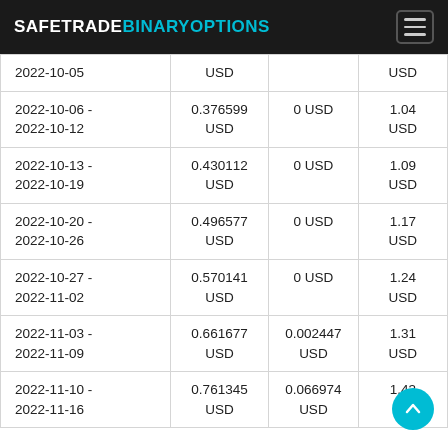SAFETRADEBINARYOPTIONS
| Date Range | Amount | Fee | Total |
| --- | --- | --- | --- |
| 2022-10-05 | USD |  | USD |
| 2022-10-06 - 2022-10-12 | 0.376599 USD | 0 USD | 1.04 USD |
| 2022-10-13 - 2022-10-19 | 0.430112 USD | 0 USD | 1.09 USD |
| 2022-10-20 - 2022-10-26 | 0.496577 USD | 0 USD | 1.17 USD |
| 2022-10-27 - 2022-11-02 | 0.570141 USD | 0 USD | 1.24 USD |
| 2022-11-03 - 2022-11-09 | 0.661677 USD | 0.002447 USD | 1.31 USD |
| 2022-11-10 - 2022-11-16 | 0.761345 USD | 0.066974 USD | 1.43 USD |